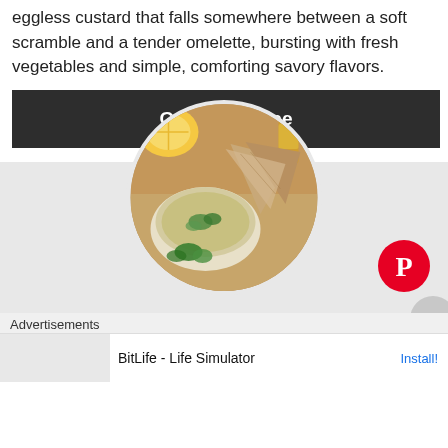eggless custard that falls somewhere between a soft scramble and a tender omelette, bursting with fresh vegetables and simple, comforting savory flavors.
Get the Recipe
[Figure (photo): Circular food photo showing a bowl of hummus or dip garnished with herbs, accompanied by pita bread triangles and a lemon wedge, on a wooden surface]
[Figure (logo): Pinterest round red button with white P icon]
Advertisements
BitLife - Life Simulator
Install!